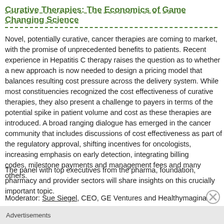Curative Therapies: The Economics of Game Changing Science
Novel, potentially curative, cancer therapies are coming to market, with the promise of unprecedented benefits to patients. Recent experience in Hepatitis C therapy raises the question as to whether a new approach is now needed to design a pricing model that balances resulting cost pressure across the delivery system. While most constituencies recognized the cost effectiveness of curative therapies, they also present a challenge to payers in terms of the potential spike in patient volume and cost as these therapies are introduced. A broad ranging dialogue has emerged in the cancer community that includes discussions of cost effectiveness as part of the regulatory approval, shifting incentives for oncologists, increasing emphasis on early detection, integrating billing codes, milestone payments and management fees and many others.
The panel with top executives from the pharma, foundation, pharmacy and provider sectors will share insights on this crucially important topic.
Moderator: Sue Siegel, CEO, GE Ventures and Healthymagination
Introductions to Panel members
GE is excited to come to Boston at its new HQS
CAR-T is a big market
Advertisements